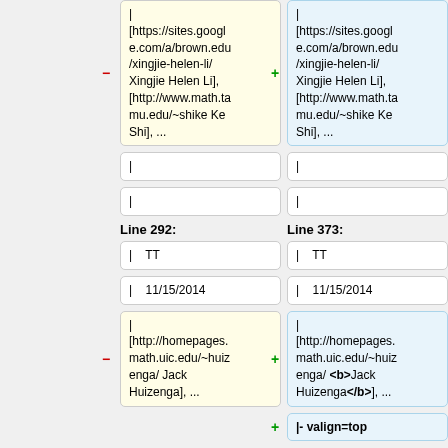| [https://sites.google.com/a/brown.edu/xingjie-helen-li/ Xingjie Helen Li], [http://www.math.tamu.edu/~shike Ke Shi], ...
| [https://sites.google.com/a/brown.edu/xingjie-helen-li/ Xingjie Helen Li], [http://www.math.tamu.edu/~shike Ke Shi], ...
|
|
|
|
Line 292:
Line 373:
| TT
| TT
| 11/15/2014
| 11/15/2014
| [http://homepages.math.uic.edu/~huizenga/ Jack Huizenga], ...
| [http://homepages.math.uic.edu/~huizenga/ <b>Jack Huizenga</b>], ...
+ |- valign=top